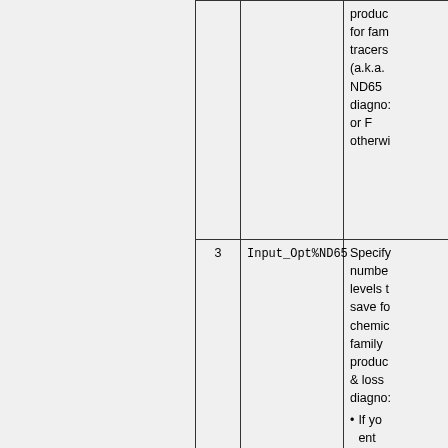|  | Input | Description |
| --- | --- | --- |
|  |  | products for family tracers (a.k.a. ND65 diagnostics) or F otherwise |
| 3 | Input_Opt%ND65 | Specify number of levels to save for chemical family production & loss diagnostics
• If yo ent |